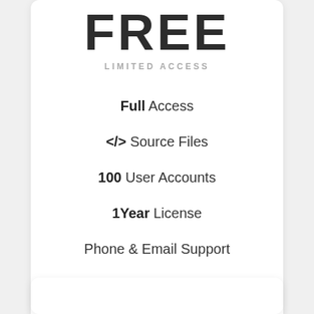FREE
LIMITED ACCESS
Full Access
</> Source Files
100 User Accounts
1Year License
Phone & Email Support
Get Started